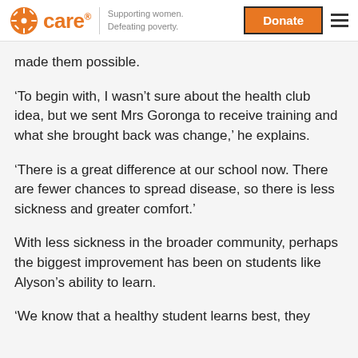care | Supporting women. Defeating poverty. | Donate
made them possible.
‘To begin with, I wasn’t sure about the health club idea, but we sent Mrs Goronga to receive training and what she brought back was change,’ he explains.
‘There is a great difference at our school now. There are fewer chances to spread disease, so there is less sickness and greater comfort.’
With less sickness in the broader community, perhaps the biggest improvement has been on students like Alyson’s ability to learn.
‘We know that a healthy student learns best, they